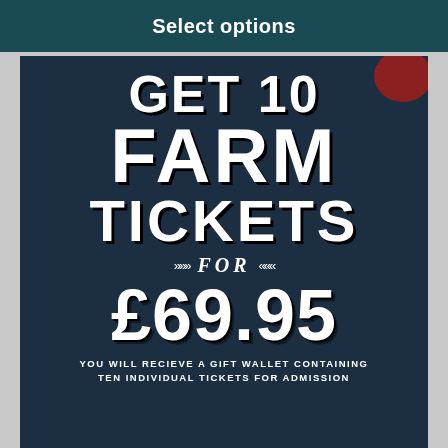Select options
[Figure (illustration): Dark navy blue promotional poster advertising 'GET 10 FARM TICKETS FOR £69.95' with large bold white typography on a dark background, with a red circular stamp badge in the top right corner and small decorative arrow elements around the word FOR. Bottom text reads: YOU WILL RECIEVE A GIFT WALLET CONTAINING TEN INDIVIDUAL TICKETS FOR ADMISSION]
YOU WILL RECIEVE A GIFT WALLET CONTAINING TEN INDIVIDUAL TICKETS FOR ADMISSION